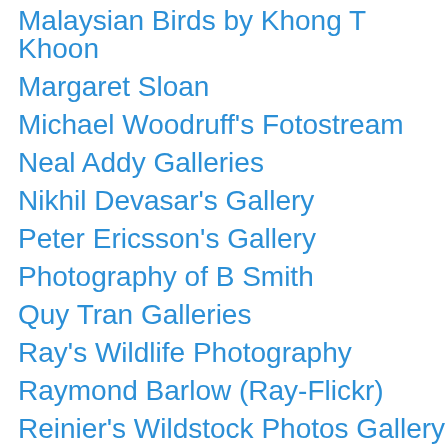Malaysian Birds by Khong T Khoon
Margaret Sloan
Michael Woodruff's Fotostream
Neal Addy Galleries
Nikhil Devasar's Gallery
Peter Ericsson's Gallery
Photography of B Smith
Quy Tran Galleries
Ray's Wildlife Photography
Raymond Barlow (Ray-Flickr)
Reinier's Wildstock Photos Gallery
Robert Scanlon's Gallery
Shekinah Photography